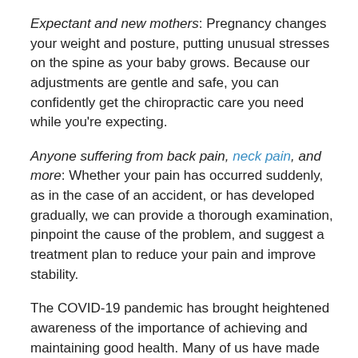Expectant and new mothers: Pregnancy changes your weight and posture, putting unusual stresses on the spine as your baby grows. Because our adjustments are gentle and safe, you can confidently get the chiropractic care you need while you're expecting.
Anyone suffering from back pain, neck pain, and more: Whether your pain has occurred suddenly, as in the case of an accident, or has developed gradually, we can provide a thorough examination, pinpoint the cause of the problem, and suggest a treatment plan to reduce your pain and improve stability.
The COVID-19 pandemic has brought heightened awareness of the importance of achieving and maintaining good health. Many of us have made positive changes in our post-pandemic lifestyles or resolved to address health issues that we may have tolerated before. Divine Spine can help you reach your goals to improve and support your health with cutting-edge technology. If an experience with a typical chiropractic